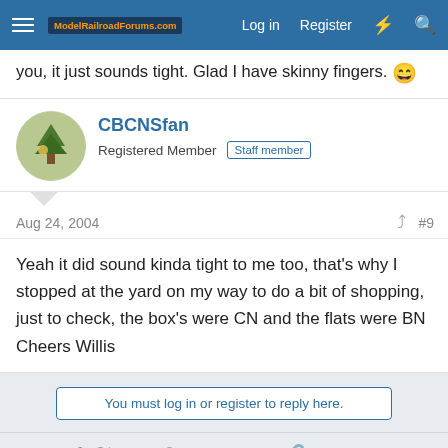ModelRailroadForums.com | Log in | Register
you, it just sounds tight. Glad I have skinny fingers. 😄
CBCNSfan
Registered Member | Staff member
Aug 24, 2004  #9
Yeah it did sound kinda tight to me too, that's why I stopped at the yard on my way to do a bit of shopping, just to check, the box's were CN and the flats were BN
Cheers Willis
You must log in or register to reply here.
Share: